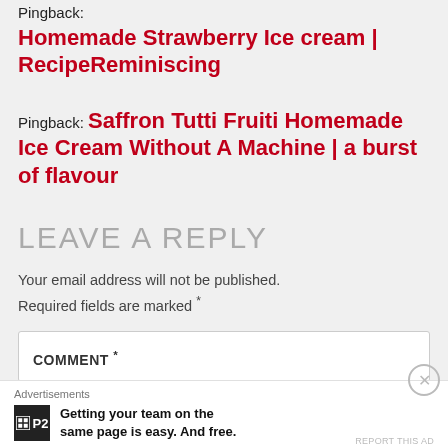Pingback: Homemade Strawberry Ice cream | RecipeReminiscing
Pingback: Saffron Tutti Fruiti Homemade Ice Cream Without A Machine | a burst of flavour
LEAVE A REPLY
Your email address will not be published. Required fields are marked *
COMMENT *
Advertisements
Getting your team on the same page is easy. And free.